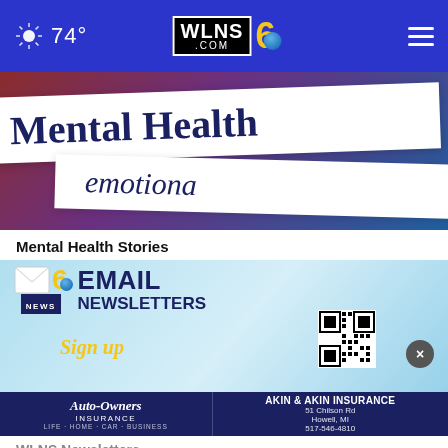74° WLNS 6 .com
[Figure (photo): Torn paper strips showing 'Mental Health' and 'emotiona' text on a dark purple/red background]
Mental Health Stories
[Figure (infographic): WLNS 6 News Email Newsletters advertisement with sign up text, QR code, Auto-Owners Insurance and Akin & Akin Insurance logos at the bottom]
WLNS Newsletters